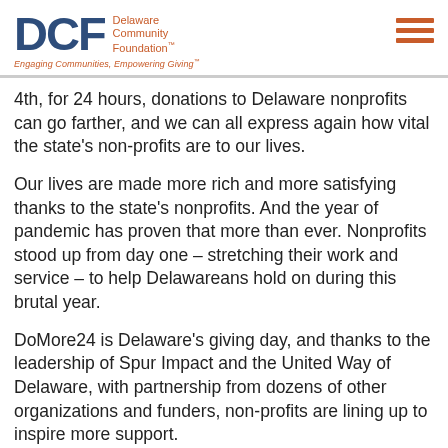DCF Delaware Community Foundation™ — Engaging Communities, Empowering Giving™
4th, for 24 hours, donations to Delaware nonprofits can go farther, and we can all express again how vital the state's non-profits are to our lives.
Our lives are made more rich and more satisfying thanks to the state's nonprofits. And the year of pandemic has proven that more than ever. Nonprofits stood up from day one – stretching their work and service – to help Delawareans hold on during this brutal year.
DoMore24 is Delaware's giving day, and thanks to the leadership of Spur Impact and the United Way of Delaware, with partnership from dozens of other organizations and funders, non-profits are lining up to inspire more support.